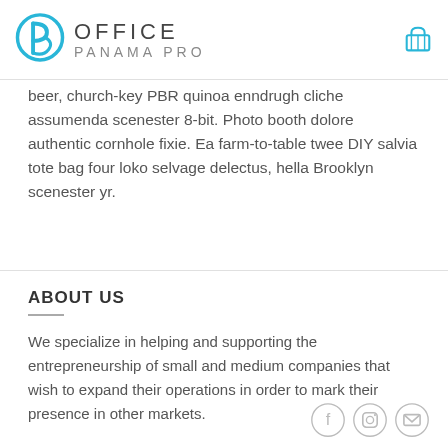OFFICE PANAMA PRO
beer, church-key PBR quinoa enndrugh cliche assumenda scenester 8-bit. Photo booth dolore authentic cornhole fixie. Ea farm-to-table twee DIY salvia tote bag four loko selvage delectus, hella Brooklyn scenester yr.
ABOUT US
We specialize in helping and supporting the entrepreneurship of small and medium companies that wish to expand their operations in order to mark their presence in other markets.